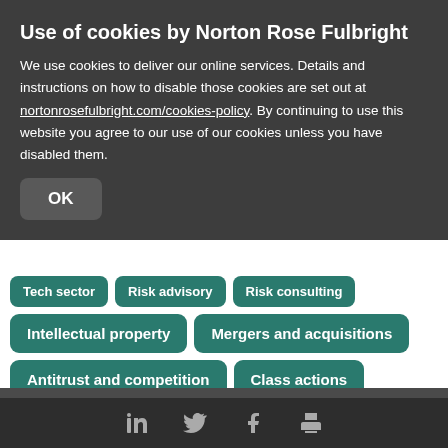Use of cookies by Norton Rose Fulbright
We use cookies to deliver our online services. Details and instructions on how to disable those cookies are set out at nortonrosefulbright.com/cookies-policy. By continuing to use this website you agree to our use of our cookies unless you have disabled them.
OK
Tech sector
Risk advisory
Risk consulting
Intellectual property
Mergers and acquisitions
Antitrust and competition
Class actions
Subscribe and stay up to date with the latest legal news, information and events...
Register now
LinkedIn  Twitter  Facebook  Print